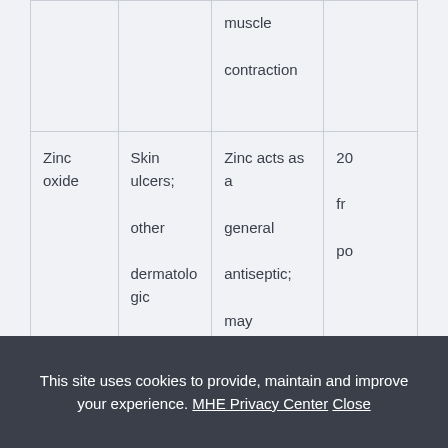|  |  | muscle contraction |  |
| Zinc oxide | Skin ulcers; other dermatologic disorders | Zinc acts as a general antiseptic; may increase tissue healing | 20... fr... po... |
This site uses cookies to provide, maintain and improve your experience. MHE Privacy Center Close